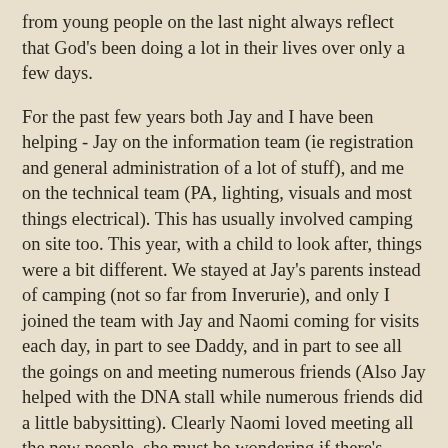from young people on the last night always reflect that God's been doing a lot in their lives over only a few days.
For the past few years both Jay and I have been helping - Jay on the information team (ie registration and general administration of a lot of stuff), and me on the technical team (PA, lighting, visuals and most things electrical). This has usually involved camping on site too. This year, with a child to look after, things were a bit different. We stayed at Jay's parents instead of camping (not so far from Inverurie), and only I joined the team with Jay and Naomi coming for visits each day, in part to see Daddy, and in part to see all the goings on and meeting numerous friends (Also Jay helped with the DNA stall while numerous friends did a little babysitting). Clearly Naomi loved meeting all the new people, she must be wondering if there's anyone in the world still left to meet!
Here's a few snapshots of the main tech desk, a place that was home for me for 16 hours a day, Tuesday to Saturday. Sorry they're a bit dark; best get someone in lighting on to that...